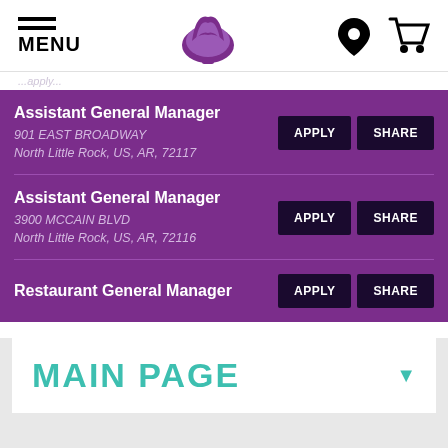MENU [Taco Bell logo] [location icon] [cart icon]
Assistant General Manager | APPLY | SHARE | 901 EAST BROADWAY, North Little Rock, US, AR, 72117
Assistant General Manager | APPLY | SHARE | 3900 MCCAIN BLVD, North Little Rock, US, AR, 72116
Restaurant General Manager | APPLY | SHARE
MAIN PAGE